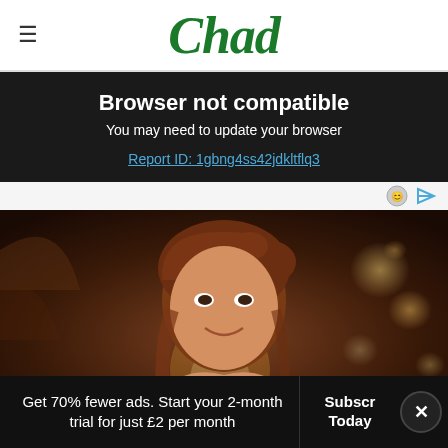Chad
Browser not compatible
You may need to update your browser
Report ID: 1gbng4ss42jdkltflq3
[Figure (photo): Portrait photo of a smiling woman with auburn hair in an updo, photographed in a warmly lit venue with bokeh lights in the background]
Get 70% fewer ads. Start your 2-month trial for just £2 per month